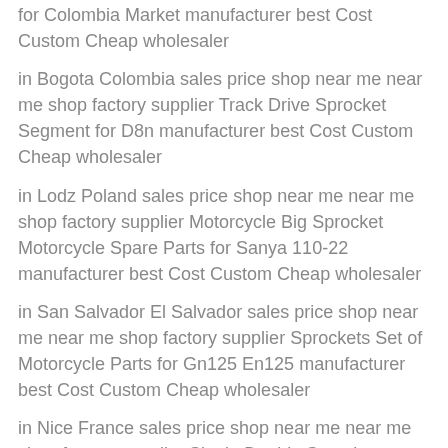for Colombia Market manufacturer best Cost Custom Cheap wholesaler
in Bogota Colombia sales price shop near me near me shop factory supplier Track Drive Sprocket Segment for D8n manufacturer best Cost Custom Cheap wholesaler
in Lodz Poland sales price shop near me near me shop factory supplier Motorcycle Big Sprocket Motorcycle Spare Parts for Sanya 110-22 manufacturer best Cost Custom Cheap wholesaler
in San Salvador El Salvador sales price shop near me near me shop factory supplier Sprockets Set of Motorcycle Parts for Gn125 En125 manufacturer best Cost Custom Cheap wholesaler
in Nice France sales price shop near me near me shop factory supplier Single Double Sprocket Accumulating Conveyor Roller manufacturer best Cost Custom Cheap wholesaler